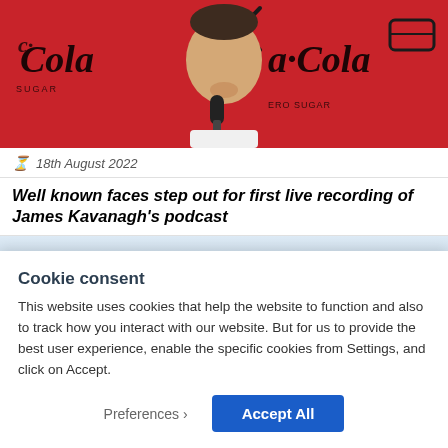[Figure (photo): Man smiling and holding a microphone at an event with Coca-Cola branded red backdrop]
18th August 2022
Well known faces step out for first live recording of James Kavanagh’s podcast
[Figure (photo): Partial view of a second photo with light blue/sky background]
Cookie consent
This website uses cookies that help the website to function and also to track how you interact with our website. But for us to provide the best user experience, enable the specific cookies from Settings, and click on Accept.
Preferences ›
Accept All